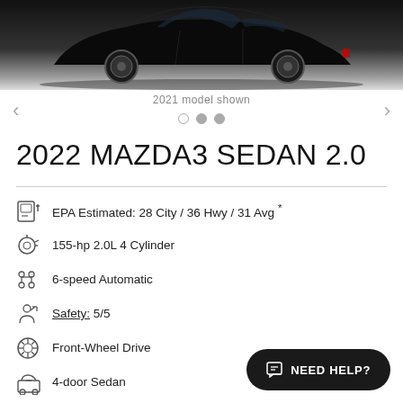[Figure (photo): 2022 Mazda3 sedan vehicle photo, black car shown from the side against a dark background]
2021 model shown
2022 MAZDA3 SEDAN 2.0
EPA Estimated: 28 City / 36 Hwy / 31 Avg *
155-hp 2.0L 4 Cylinder
6-speed Automatic
Safety: 5/5
Front-Wheel Drive
4-door Sedan
5 Passengers
3 years, 36,000 miles